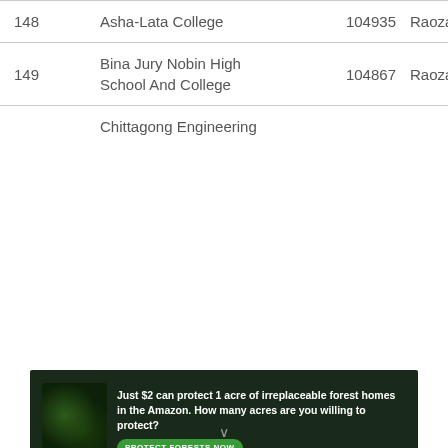| No. | Name | EIIN | Area |
| --- | --- | --- | --- |
| 148 | Asha-Lata College | 104935 | Raozan |
| 149 | Bina Jury Nobin High School And College | 104867 | Raozan |
|  | Chittagong Engineering |  |  |
[Figure (infographic): Advertisement banner: 'Just $2 can protect 1 acre of irreplaceable forest homes in the Amazon. How many acres are you willing to protect?' with a Protect Forests Now button and forest/orangutan imagery.]